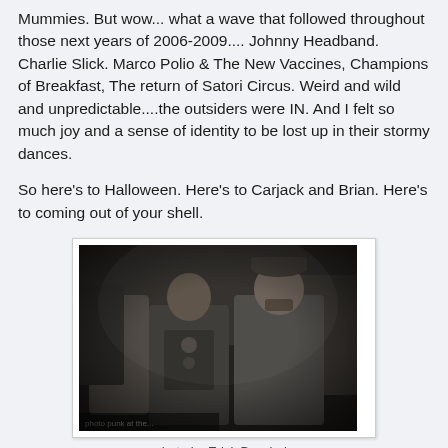Mummies. But wow... what a wave that followed throughout those next years of 2006-2009.... Johnny Headband. Charlie Slick. Marco Polio & The New Vaccines, Champions of Breakfast, The return of Satori Circus. Weird and wild and unpredictable....the outsiders were IN. And I felt so much joy and a sense of identity to be lost up in their stormy dances.
So here's to Halloween. Here's to Carjack and Brian. Here's to coming out of your shell.
[Figure (photo): Black and white photograph of two people standing together indoors, possibly at a concert or Halloween event. One person wears a cap and jacket, the other wears a decorated outfit. Photo credit watermark visible at bottom left.]
photo by Erick Buccholz